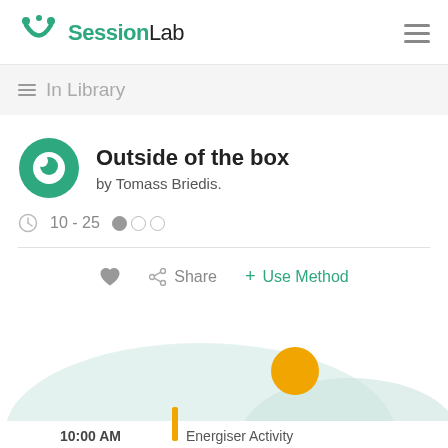SessionLab
In Library
Outside of the box
by Tomass Briedis.
10 - 25
Share   + Use Method
[Figure (illustration): Bottom of page UI illustration showing a schedule/timeline with a green rounded shape background, an orange circle, and a timeline entry showing 10:00 AM and Energiser Activity]
10:00 AM   Energiser Activity